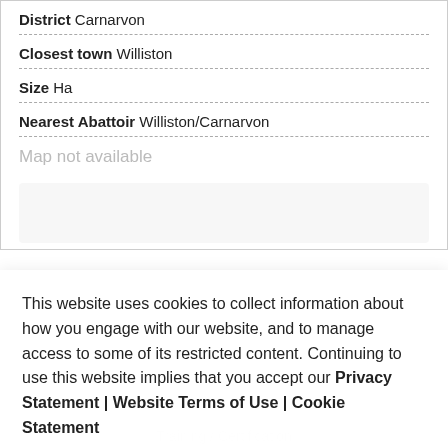District Carnarvon
Closest town Williston
Size Ha
Nearest Abattoir Williston/Carnarvon
Map not available
This website uses cookies to collect information about how you engage with our website, and to manage access to some of its restricted content. Continuing to use this website implies that you accept our Privacy Statement | Website Terms of Use | Cookie Statement
Cookie Settings
Reject All
Accept All
Training / Certification